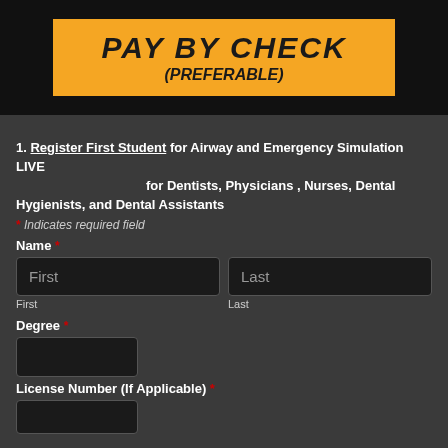[Figure (other): Orange banner with bold italic text reading PAY BY CHECK (PREFERABLE) on dark background]
1. Register First Student for Airway and Emergency Simulation LIVE
                                    for Dentists, Physicians , Nurses, Dental Hygienists, and Dental Assistants
* Indicates required field
Name *
First
Last
First
Last
Degree *
License Number (If Applicable) *